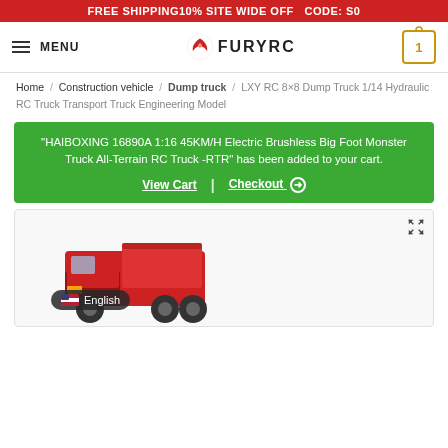FREE SHIPPING10% SITE WIDE OFF  CODE: S0
[Figure (logo): FuryRC logo with stylized flame/wing icon and FURYRC text, navigation menu icon and cart icon with badge '1']
Home / Construction vehicle / Dump truck / LXY RC 8×8 Dump Truck 1/14 Hydraulic RC Truck Transport Truck Engineering Model
"HAIBOXING 16890A 1:16 45KM/H Electric Brushless Big Foot Monster Truck All-Terrain RC Truck -RTR" has been added to your cart. View Cart | Checkout ⊕
[Figure (photo): Red LXY RC 8x8 dump truck model shown partially at bottom of product page image area]